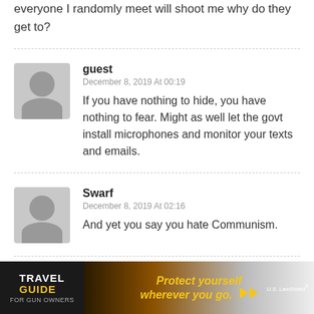everyone I randomly meet will shoot me why do they get to?
guest
December 8, 2019 At 00:19
If you have nothing to hide, you have nothing to fear. Might as well let the govt install microphones and monitor your texts and emails.
Swarf
December 8, 2019 At 02:16
And yet you say you hate Communism.
Big Bill
[Figure (infographic): Advertisement banner for Travel Guide for Gun Owners featuring 'Protect yourself wherever you go.' with US LawShield branding]
tion of